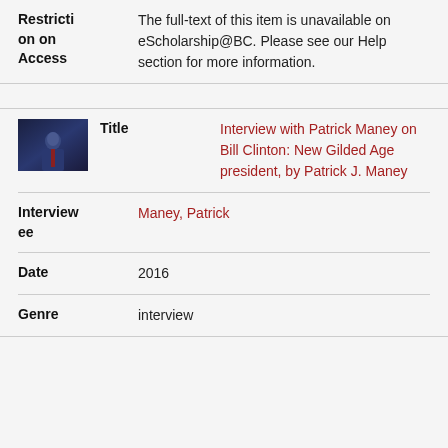| Field | Value |
| --- | --- |
| Restriction on Access | The full-text of this item is unavailable on eScholarship@BC. Please see our Help section for more information. |
| Field | Value |
| --- | --- |
| Title | Interview with Patrick Maney on Bill Clinton: New Gilded Age president, by Patrick J. Maney |
| Interviewee | Maney, Patrick |
| Date | 2016 |
| Genre | interview |